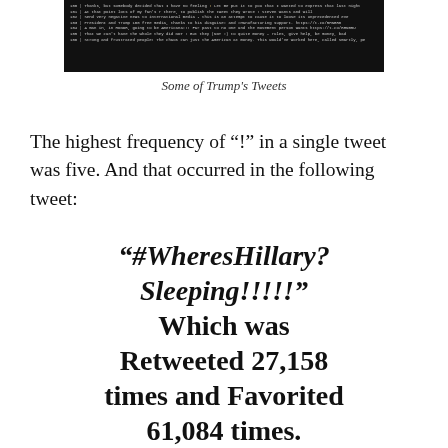[Figure (screenshot): A dark screenshot showing multiple lines of Trump's tweets in small monospace text with some yellow highlighted characters]
Some of Trump's Tweets
The highest frequency of "!" in a single tweet was five. And that occurred in the following tweet:
“#WheresHillary? Sleeping!!!!!” Which was Retweeted 27,158 times and Favorited 61,084 times. Created on August